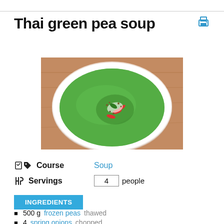Thai green pea soup
[Figure (photo): A white bowl filled with bright green Thai pea soup, garnished with red chili slices, seeds, and herbs, on a wooden surface.]
Course   Soup
Servings   4   people
INGREDIENTS
500 g frozen peas thawed
4 spring onions chopped